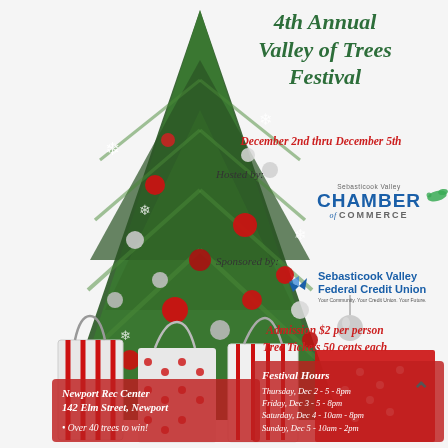[Figure (photo): Christmas tree decorated with red and silver ornaments and snowflake decorations, with gift bags at the base. Background is white/light grey.]
4th Annual Valley of Trees Festival
December 2nd thru December 5th
Hosted by:
[Figure (logo): Sebasticook Valley Chamber of Commerce logo with blue CHAMBER text and flying duck graphic]
Sponsored by:
[Figure (logo): Sebasticook Valley Federal Credit Union logo with bird graphic]
Admission $2 per person
Tree Tickets 50 cents each
Newport Rec Center
142 Elm Street, Newport
• Over 40 trees to win!
Festival Hours
Thursday, Dec 2 - 5 - 8pm
Friday, Dec 3 - 5 - 8pm
Saturday, Dec 4 - 10am - 8pm
Sunday, Dec 5 - 10am - 2pm